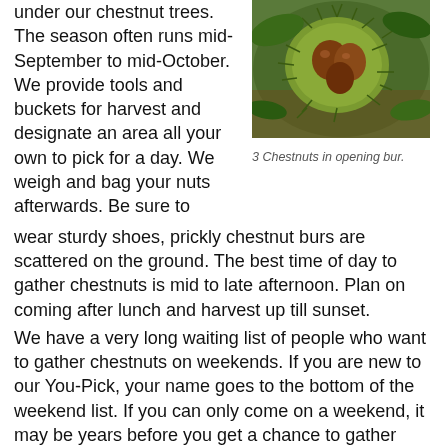under our chestnut trees. The season often runs mid-September to mid-October. We provide tools and buckets for harvest and designate an area all your own to pick for a day. We weigh and bag your nuts afterwards. Be sure to wear sturdy shoes, prickly chestnut burs are scattered on the ground. The best time of day to gather chestnuts is mid to late afternoon. Plan on coming after lunch and harvest up till sunset.
[Figure (photo): Close-up photo of chestnuts in an opening spiky bur, with green leaves visible in background.]
3 Chestnuts in opening bur.
We have a very long waiting list of people who want to gather chestnuts on weekends. If you are new to our You-Pick, your name goes to the bottom of the weekend list. If you can only come on a weekend, it may be years before you get a chance to gather chestnuts. If you can come on a Tuesday, Wednesday or Thursday you have a much better chance of getting to gather chestnuts. We have started scheduling people to come pick chestnuts on weekdays for 2018. Call or email us to get on our list. We are scheduling people for weekdays as well...